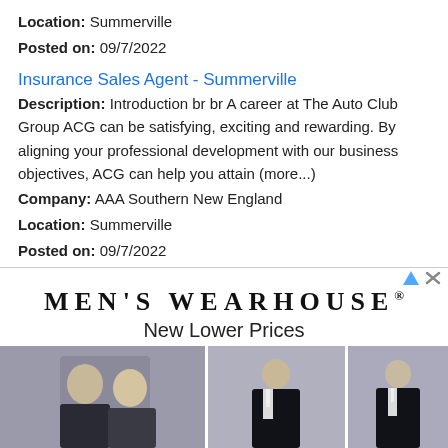Location: Summerville
Posted on: 09/7/2022
Insurance Sales Agent - Summerville
Description: Introduction br br A career at The Auto Club Group ACG can be satisfying, exciting and rewarding. By aligning your professional development with our business objectives, ACG can help you attain (more...)
Company: AAA Southern New England
Location: Summerville
Posted on: 09/7/2022
Loading more jobs...
[Figure (advertisement): Men's Wearhouse advertisement with brand name, tagline 'New Lower Prices', and three images of people in formal wear.]